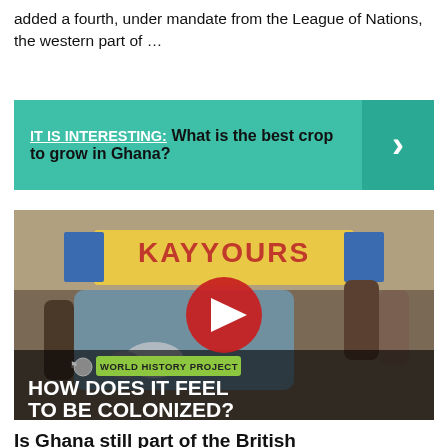added a fourth, under mandate from the League of Nations, the western part of …
IT IS INTERESTING:  What is the best crop to grow in Ghana?
[Figure (screenshot): YouTube video thumbnail from World History Project titled 'HOW DOES IT FEEL TO BE COLONIZED?' showing a vintage scene of people around a vehicle in what appears to be Ghana, with a YouTube play button overlay and the label 'WORLD HISTORY PROJECT' at the bottom.]
Is Ghana still part of the British